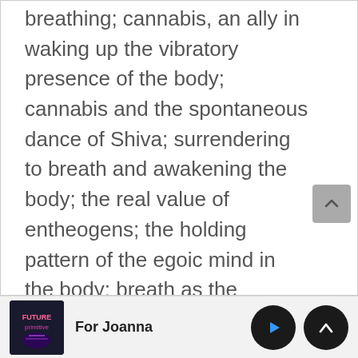breathing; cannabis, an ally in waking up the vibratory presence of the body; cannabis and the spontaneous dance of Shiva; surrendering to breath and awakening the body; the real value of entheogens; the holding pattern of the egoic mind in the body; breath as the common practice to experience the sacred in the three Abrahamic traditions; Buddha's instruction for breathing through the whole body; the somatic, palpable experience of oneness of the founders of monotheistic religions; a somatic meditation.
For Joanna